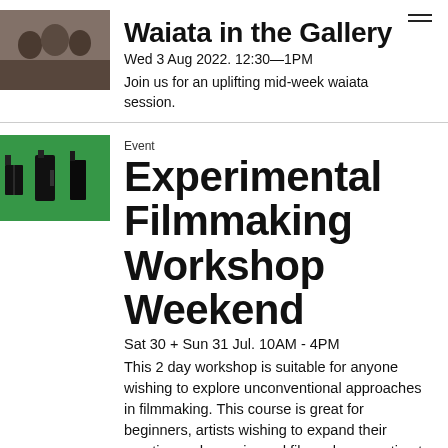[Figure (photo): Group of people, audience or crowd photo thumbnail]
Waiata in the Gallery
Wed 3 Aug 2022. 12:30—1PM
Join us for an uplifting mid-week waiata session.
[Figure (photo): Person with film cameras in front of a green screen]
Event
Experimental Filmmaking Workshop Weekend
Sat 30 + Sun 31 Jul. 10AM - 4PM
This 2 day workshop is suitable for anyone wishing to explore unconventional approaches in filmmaking. This course is great for beginners, artists wishing to expand their practice and experienced filmmakers wanting to build upon existing skills in the area of experimental film. Presented by film-maker and Wintec tutor Dr. Julia Reynolds.
[Figure (photo): Close up of a child's face, movie still]
Event
The Innocents